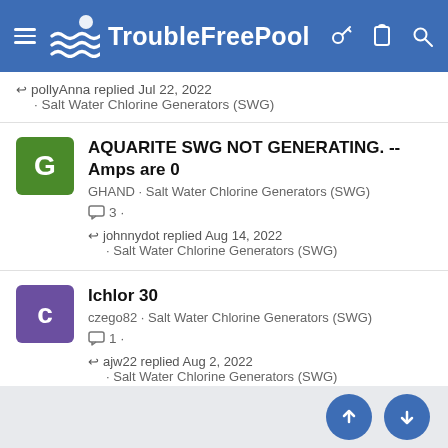TroubleFreePool
pollyAnna replied Jul 22, 2022 · Salt Water Chlorine Generators (SWG)
AQUARITE SWG NOT GENERATING. -- Amps are 0
GHAND · Salt Water Chlorine Generators (SWG)
3 · johnnydot replied Aug 14, 2022 · Salt Water Chlorine Generators (SWG)
Ichlor 30
czego82 · Salt Water Chlorine Generators (SWG)
1 · ajw22 replied Aug 2, 2022 · Salt Water Chlorine Generators (SWG)